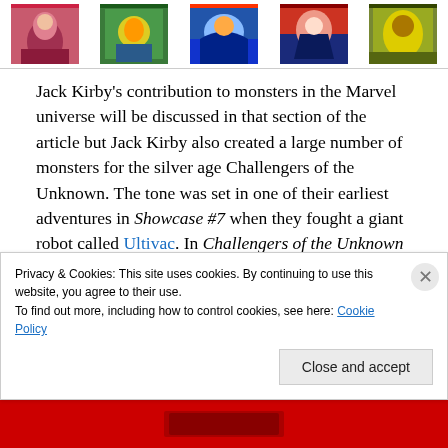[Figure (illustration): Row of comic book cover thumbnail images at the top of the page, partially cropped, showing colorful illustrated characters and scenes]
Jack Kirby's contribution to monsters in the Marvel universe will be discussed in that section of the article but Jack Kirby also created a large number of monsters for the silver age Challengers of the Unknown.  The tone was set in one of their earliest adventures in Showcase #7 when they fought a giant robot called Ultivac.  In Challengers of the Unknown volume 1 there are giant robots 13 in the following issues:  #16 -the Incredible Metal Monster, #18 –
Privacy & Cookies: This site uses cookies. By continuing to use this website, you agree to their use.
To find out more, including how to control cookies, see here: Cookie Policy
[Figure (illustration): Partial red banner at bottom of page with a comic book image partially visible]